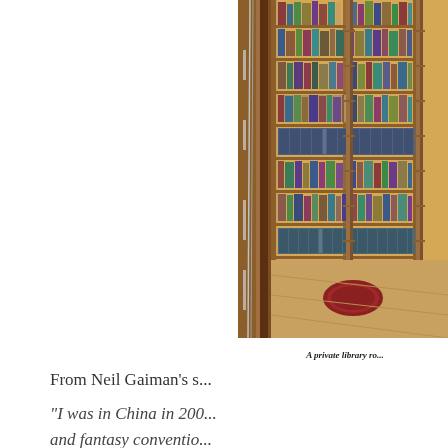[Figure (photo): A tall private library room with floor-to-ceiling wooden bookshelves filled with books, rolling ladders, wooden beam framing visible on the left side, a red rug on the wooden floor at the far end. Warm golden-brown tones throughout.]
A private library ro...
From Neil Gaiman's s...
"I was in China in 200... and fantasy conventio...